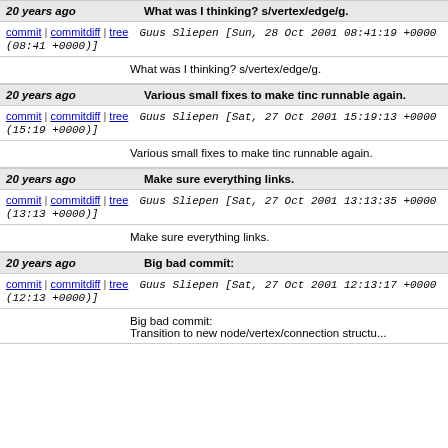20 years ago  What was I thinking? s/vertex/edge/g.
commit | commitdiff | tree   Guus Sliepen [Sun, 28 Oct 2001 08:41:19 +0000 (08:41 +0000)]
What was I thinking? s/vertex/edge/g.
20 years ago  Various small fixes to make tinc runnable again.
commit | commitdiff | tree   Guus Sliepen [Sat, 27 Oct 2001 15:19:13 +0000 (15:19 +0000)]
Various small fixes to make tinc runnable again.
20 years ago  Make sure everything links.
commit | commitdiff | tree   Guus Sliepen [Sat, 27 Oct 2001 13:13:35 +0000 (13:13 +0000)]
Make sure everything links.
20 years ago  Big bad commit:
commit | commitdiff | tree   Guus Sliepen [Sat, 27 Oct 2001 12:13:17 +0000 (12:13 +0000)]
Big bad commit:
Transition to new node/vertex/connection structu...